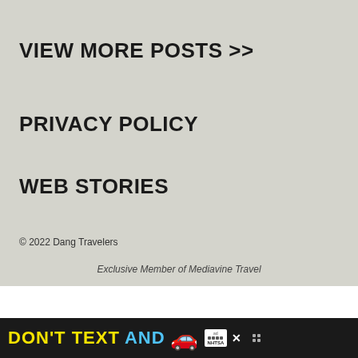VIEW MORE POSTS >>
PRIVACY POLICY
WEB STORIES
© 2022 Dang Travelers
Exclusive Member of Mediavine Travel
[Figure (other): Advertisement banner: DON'T TEXT AND [car emoji] with ad logo and NHTSA branding on dark background]